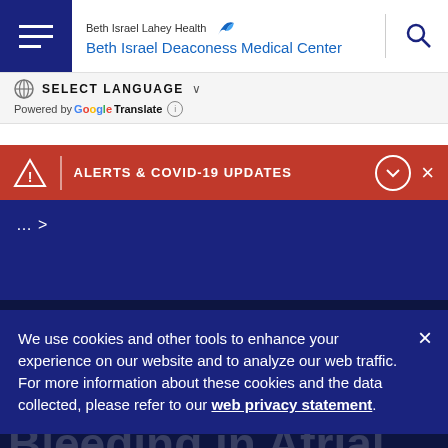Beth Israel Lahey Health – Beth Israel Deaconess Medical Center
SELECT LANGUAGE – Powered by Google Translate
ALERTS & COVID-19 UPDATES
... >
Study in NEJM Reports Progress in Preventing Bleeding in Atrial Fibrillation Patients Undergoing Stenting
We use cookies and other tools to enhance your experience on our website and to analyze our web traffic. For more information about these cookies and the data collected, please refer to our web privacy statement.